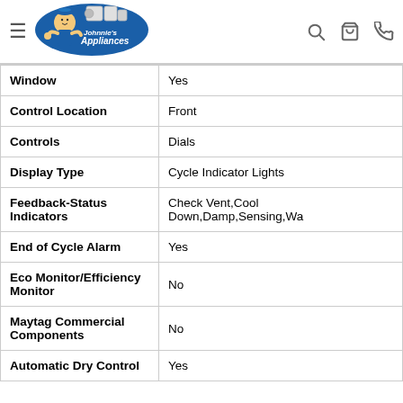[Figure (logo): Johnnie's Appliances logo with cartoon mascot and appliances]
| Window | Yes |
| Control Location | Front |
| Controls | Dials |
| Display Type | Cycle Indicator Lights |
| Feedback-Status Indicators | Check Vent,Cool Down,Damp,Sensing,Wa... |
| End of Cycle Alarm | Yes |
| Eco Monitor/Efficiency Monitor | No |
| Maytag Commercial Components | No |
| Automatic Dry Control | Yes |